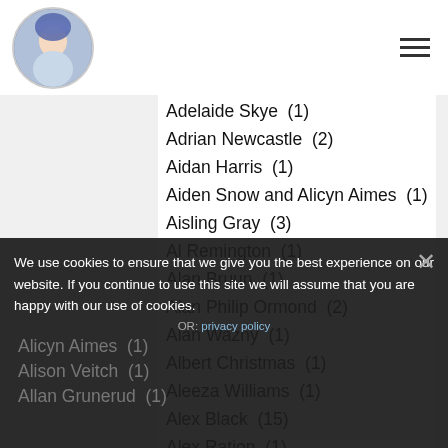Logo and navigation header
Adelaide Skye  (1)
Adrian Newcastle  (2)
Aidan Harris  (1)
Aiden Snow and Alicyn Aimes  (1)
Aisling Gray  (3)
Al Remington  (1)
Alan Bruun  (1)
Alan Philip Ormond  (2)
Alan Wazny  (1)
Albert Christmas  (1)
Aleeza Williams  (1)
Alex Black  (15)
Alex Ration  (1)
Alex Riley  (4)
Alexa Elmy  (1)
Alexander Johnston  (1)
Alicyn Aimes  (1)
Alison Veitch  (1)
Allan Grunerud  (1)
We use cookies to ensure that we give you the best experience on our website. If you continue to use this site we will assume that you are happy with our use of cookies. OR: privacy policy